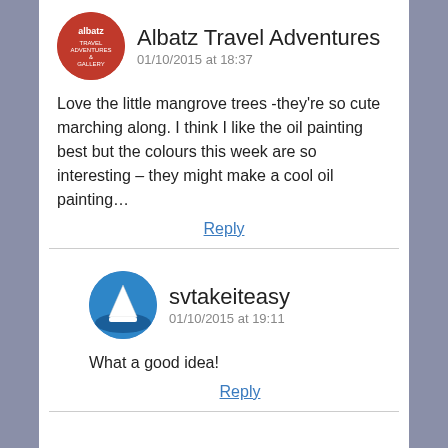[Figure (illustration): Circular avatar logo for Albatz Travel Adventures — red background with white text and travel imagery]
Albatz Travel Adventures
01/10/2015 at 18:37
Love the little mangrove trees -they're so cute marching along. I think I like the oil painting best but the colours this week are so interesting – they might make a cool oil painting…
Reply
[Figure (illustration): Circular avatar for svtakeiteasy — blue background with white sailboat image]
svtakeiteasy
01/10/2015 at 19:11
What a good idea!
Reply